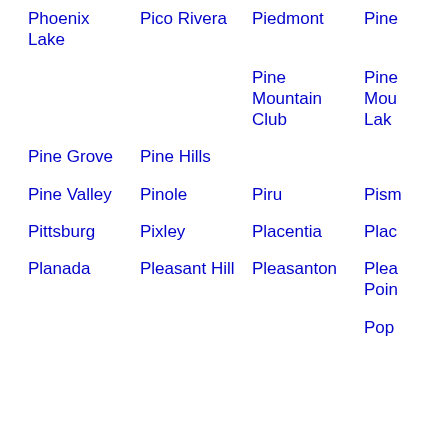Phoenix Lake
Pico Rivera
Piedmont
Pine Lake
Pine Grove
Pine Hills
Pine Mountain Club
Pine Mountain Lake
Pine Valley
Pinole
Piru
Pismo
Pittsburg
Pixley
Placentia
Plac
Planada
Pleasant Hill
Pleasanton
Plea
Poin
Pop